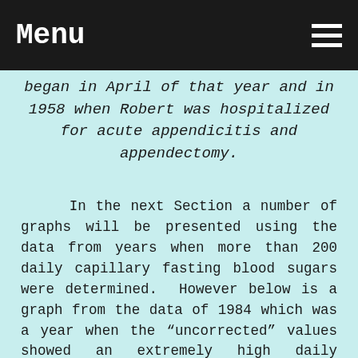Menu
began in April of that year and in 1958 when Robert was hospitalized for acute appendicitis and appendectomy.
In the next Section a number of graphs will be presented using the data from years when more than 200 daily capillary fasting blood sugars were determined.  However below is a graph from the data of 1984 which was a year when the “uncorrected” values showed an extremely high daily fasting blood sugar (see Table 3A).  The explanation for this is the fact that on most days only the prebreakfast urine sugar was measured, and on 313 of the 365 days there was no trace of sugar in the